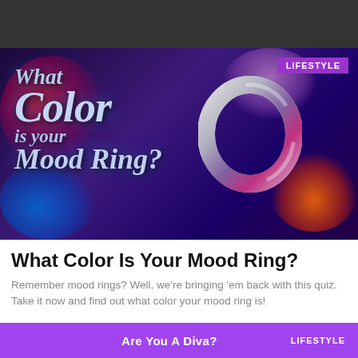[Figure (photo): Stylized promotional image with text 'What Color is your Mood Ring?' on a dark purple background with colorful smoke and a mood ring graphic. A 'LIFESTYLE' badge appears in the top-right corner.]
What Color Is Your Mood Ring?
Remember mood rings? Well, we're bringing 'em back with this quiz. Take it now and find out what color your mood ring is!
[Figure (infographic): Purple banner at the bottom with text 'Are You A Diva?' and a 'LIFESTYLE' label on the right.]